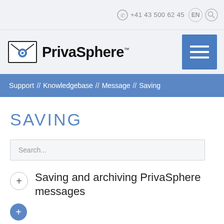+41 43 500 62 45  EN
[Figure (logo): PrivaSphere logo with envelope icon and wordmark]
Support // Knowledgebase // Message // Saving
SAVING
Search...
Saving and archiving PrivaSphere messages